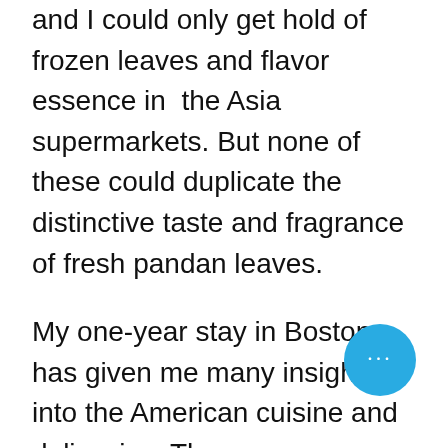and I could only get hold of frozen leaves and flavor essence in the Asia supermarkets. But none of these could duplicate the distinctive taste and fragrance of fresh pandan leaves.

My one-year stay in Boston has given me many insights into the American cuisine and delicacies. There were occasions which I assimilated food of the West with my prior knowledge of the East. The commonly known chiffon cake is more commonly known as Angel cake in US. It is named because of it's lightness that was referred for the angels.The lightness is achieved by whisking egg whites and sugar till stiff peaks